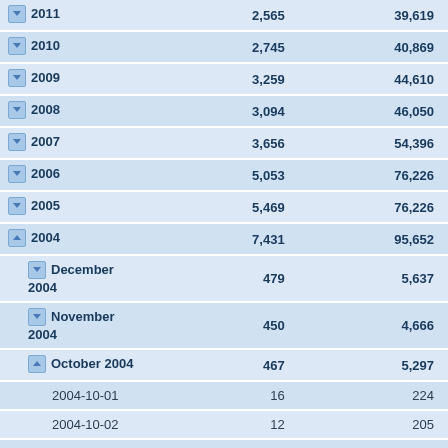| Period | Col2 | Col3 |
| --- | --- | --- |
| 2011 | 2,565 | 39,619 |
| 2010 | 2,745 | 40,869 |
| 2009 | 3,259 | 44,610 |
| 2008 | 3,094 | 46,050 |
| 2007 | 3,656 | 54,396 |
| 2006 | 5,053 | 76,226 |
| 2005 | 5,469 | 76,226 |
| 2004 | 7,431 | 95,652 |
| December 2004 | 479 | 5,637 |
| November 2004 | 450 | 4,666 |
| October 2004 | 467 | 5,297 |
| 2004-10-01 | 16 | 224 |
| 2004-10-02 | 12 | 205 |
| 2004-10-03 | 20 | 204 |
| 2004-10-04 | 6 | 69 |
| 2004-10-06 | 8 | 127 |
| 2004-10-07 | 19 | 206 |